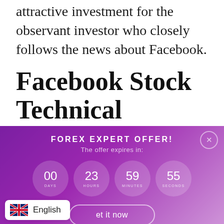attractive investment for the observant investor who closely follows the news about Facebook.
Facebook Stock Technical Analysis
[Figure (infographic): Purple gradient promotional banner for Forex Expert Offer with countdown timer showing 00 days, 23 hours, 59 minutes, 55 seconds and a 'get it now' call-to-action button. A close (X) button appears in the top right corner.]
English